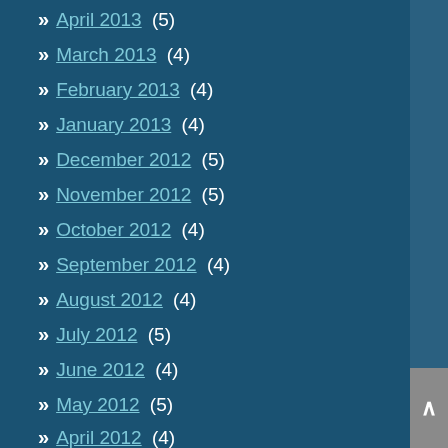April 2013 (5)
March 2013 (4)
February 2013 (4)
January 2013 (4)
December 2012 (5)
November 2012 (5)
October 2012 (4)
September 2012 (4)
August 2012 (4)
July 2012 (5)
June 2012 (4)
May 2012 (5)
April 2012 (4)